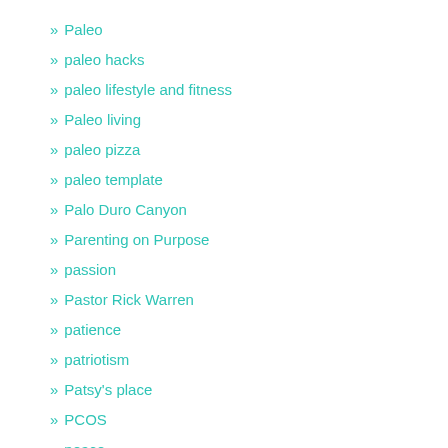Paleo
paleo hacks
paleo lifestyle and fitness
Paleo living
paleo pizza
paleo template
Palo Duro Canyon
Parenting on Purpose
passion
Pastor Rick Warren
patience
patriotism
Patsy's place
PCOS
peace